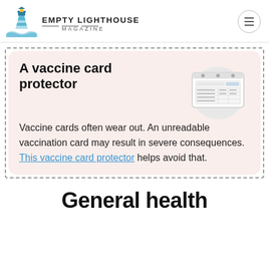EMPTY LIGHTHOUSE MAGAZINE
[Figure (infographic): Vaccine card protector promotional card with image of a vaccine card inside a plastic holder. Title: A vaccine card protector. Body text: Vaccine cards often wear out. An unreadable vaccination card may result in severe consequences. This vaccine card protector helps avoid that.]
General health